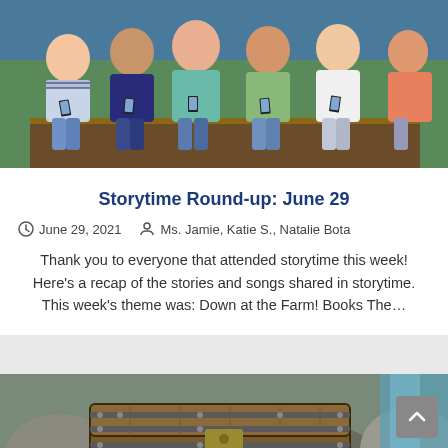[Figure (photo): Group of people (teens/young adults) sitting together, each holding a phone, wearing casual clothing including jeans and various tops]
Storytime Round-up: June 29
June 29, 2021   Ms. Jamie, Katie S., Natalie Bota
Thank you to everyone that attended storytime this week! Here's a recap of the stories and songs shared in storytime. This week's theme was: Down at the Farm! Books The…
[Figure (photo): A wooden treasure chest with metal bands and rivets, sitting among rocks with some gold coins visible, and a blue waterfall or water feature in the background]